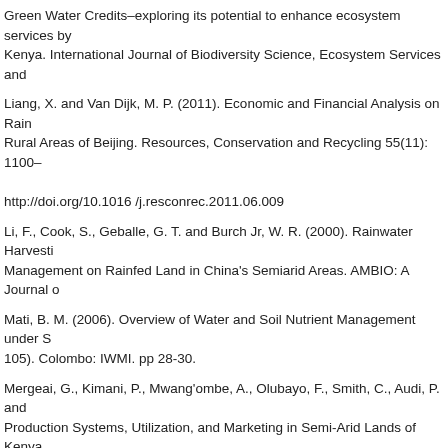Green Water Credits–exploring its potential to enhance ecosystem services by Kenya. International Journal of Biodiversity Science, Ecosystem Services and
Liang, X. and Van Dijk, M. P. (2011). Economic and Financial Analysis on Rain Rural Areas of Beijing. Resources, Conservation and Recycling 55(11): 1100– http://doi.org/10.1016 /j.resconrec.2011.06.009
Li, F., Cook, S., Geballe, G. T. and Burch Jr, W. R. (2000). Rainwater Harvesti Management on Rainfed Land in China's Semiarid Areas. AMBIO: A Journal o
Mati, B. M. (2006). Overview of Water and Soil Nutrient Management under S 105). Colombo: IWMI. pp 28-30.
Mergeai, G., Kimani, P., Mwang'ombe, A., Olubayo, F., Smith, C., Audi, P. and Production Systems, Utilization, and Marketing in Semi-Arid Lands of Kenya. Environnement 5(3): 145-153.
Ministry of Agriculture Livestock and Fisheries (MALF). (2015). Economic Rev Government Printer. pp 14-16.
Rockström, J., Williams, J., Daily, G., Noble, A., Matthews, N., Gordon, L. and Agriculture for Human Prosperity and Global Sustainability. Ambio 1:1-14. http
Rustamova, I. B. (2016). Evaluation of Economic Efficiency of Using Resource in Irrigated Lands. Journal of Global Economics 4(2): 1-5. http://doi.org/10.417
Senkondo, E. M., Msangi, A. S. and Hatibu, N. (2004). Profitability of Rainwate